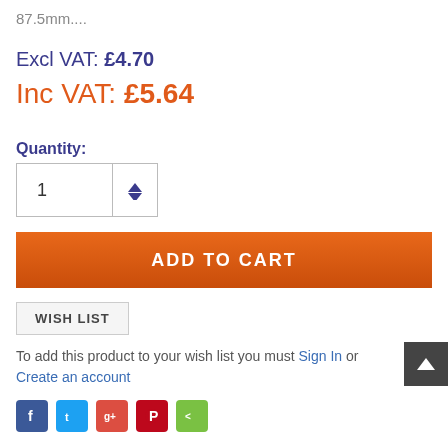87.5mm....
Excl VAT: £4.70
Inc VAT: £5.64
Quantity:
ADD TO CART
WISH LIST
To add this product to your wish list you must Sign In or Create an account